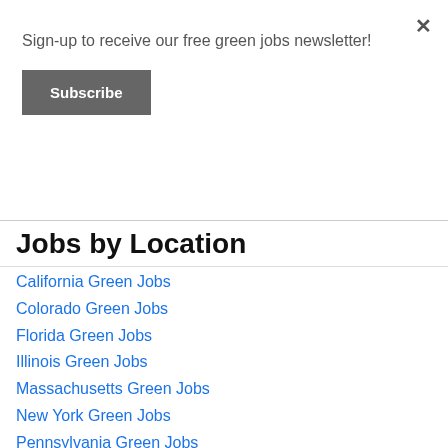Sign-up to receive our free green jobs newsletter!
Subscribe
×
Jobs by Location
California Green Jobs
Colorado Green Jobs
Florida Green Jobs
Illinois Green Jobs
Massachusetts Green Jobs
New York Green Jobs
Pennsylvania Green Jobs
Texas Green Jobs
Washington Green Jobs
More states
Atlanta Green Jobs